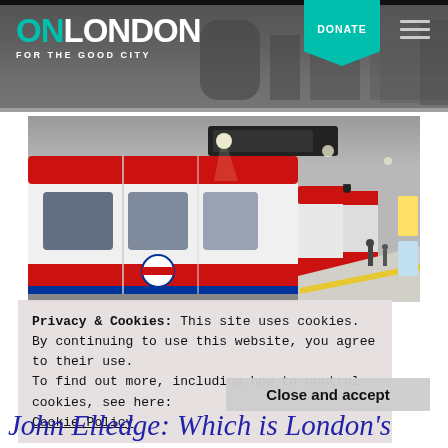ON LONDON - FOR THE GOOD CITY
[Figure (photo): London Underground tube train at a station platform, viewed from the side, with the tunnel receding in the background. Red and white tube carriages visible, platform with yellow line, illuminated tunnel ceiling.]
Privacy & Cookies: This site uses cookies. By continuing to use this website, you agree to their use.
To find out more, including how to control cookies, see here:
Cookie Policy
Close and accept
John Elledge: Which is London's